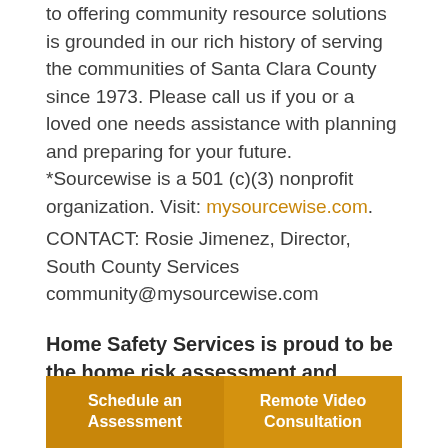to offering community resource solutions is grounded in our rich history of serving the communities of Santa Clara County since 1973. Please call us if you or a loved one needs assistance with planning and preparing for your future. *Sourcewise is a 501 (c)(3) nonprofit organization. Visit: mysourcewise.com.
CONTACT: Rosie Jimenez, Director, South County Services community@mysourcewise.com
Home Safety Services is proud to be the home risk assessment and installation provider for Sourcewise's Dignity at Home Program.
Schedule an Assessment
Remote Video Consultation